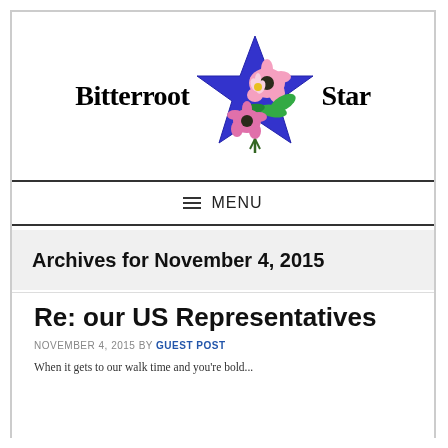[Figure (logo): Bitterroot Star logo with blue star and flowers illustration between the words]
≡ MENU
Archives for November 4, 2015
Re: our US Representatives
NOVEMBER 4, 2015 BY GUEST POST
When it gets to our walk time and you're bold...